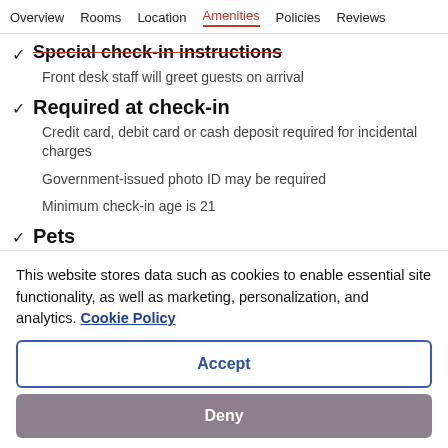Overview   Rooms   Location   Amenities   Policies   Reviews
Special check-in instructions
Front desk staff will greet guests on arrival
Required at check-in
Credit card, debit card or cash deposit required for incidental charges
Government-issued photo ID may be required
Minimum check-in age is 21
Pets
This website stores data such as cookies to enable essential site functionality, as well as marketing, personalization, and analytics. Cookie Policy
Accept
Deny